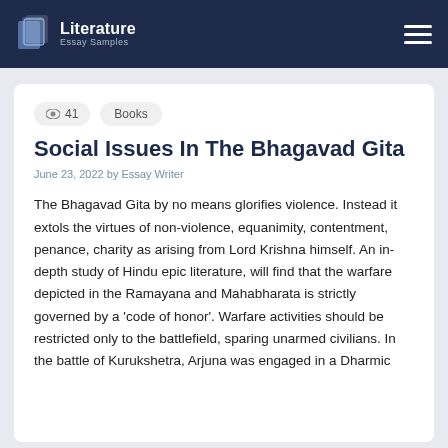Literature Essay Samples
41   Books
Social Issues In The Bhagavad Gita
June 23, 2022 by Essay Writer
The Bhagavad Gita by no means glorifies violence. Instead it extols the virtues of non-violence, equanimity, contentment, penance, charity as arising from Lord Krishna himself. An in-depth study of Hindu epic literature, will find that the warfare depicted in the Ramayana and Mahabharata is strictly governed by a 'code of honor'. Warfare activities should be restricted only to the battlefield, sparing unarmed civilians. In the battle of Kurukshetra, Arjuna was engaged in a Dharmic